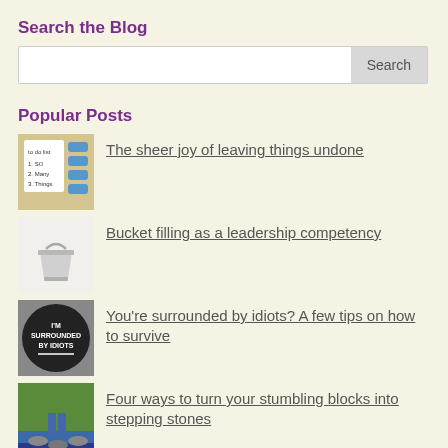Search the Blog
[Figure (screenshot): Search bar with white input field and grey Search button]
Popular Posts
[Figure (photo): To-do list with handwriting: 'to do list, 1. SO, 2. Many, 3. Things']
The sheer joy of leaving things undone
[Figure (photo): Small silver metal bucket on white background]
Bucket filling as a leadership competency
[Figure (photo): Black circular badge with white text: I'M SURROUNDED BY IDIOTS]
You're surrounded by idiots? A few tips on how to survive
[Figure (photo): Person stepping on stones near water, wearing blue jeans]
Four ways to turn your stumbling blocks into stepping stones